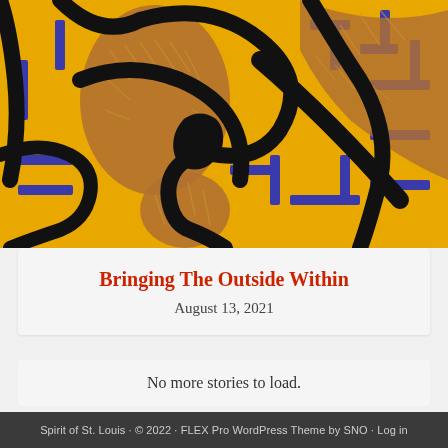[Figure (photo): Close-up photograph of a colorful artwork with yellow background, black bold outlines forming abstract figures, blue linear patterns, and bronze/copper textured raised areas. Style reminiscent of Keith Haring pop art.]
Bringing The Outside Within
August 13, 2021
No more stories to load.
Spirit of St. Louis · © 2022 · FLEX Pro WordPress Theme by SNO · Log in